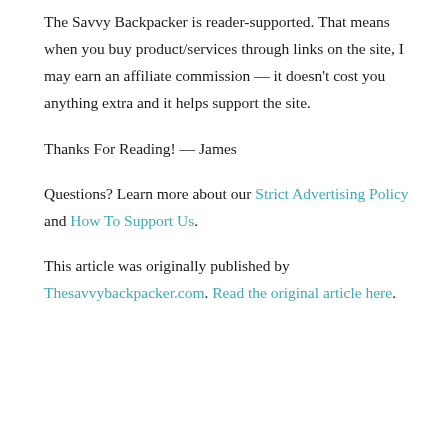The Savvy Backpacker is reader-supported. That means when you buy product/services through links on the site, I may earn an affiliate commission — it doesn't cost you anything extra and it helps support the site.
Thanks For Reading! — James
Questions? Learn more about our Strict Advertising Policy and How To Support Us.
This article was originally published by Thesavvybackpacker.com. Read the original article here.